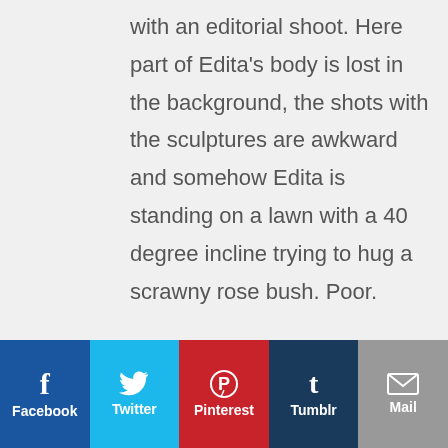with an editorial shoot. Here part of Edita's body is lost in the background, the shots with the sculptures are awkward and somehow Edita is standing on a lawn with a 40 degree incline trying to hug a scrawny rose bush. Poor.
Reply
Angela says
[Figure (screenshot): Social sharing bar with Facebook (dark blue), Twitter (light blue), Pinterest (red), Tumblr (dark navy), and Mail (gray) buttons]